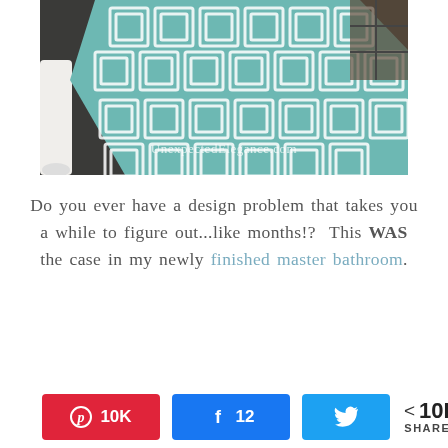[Figure (photo): Close-up photo of a teal geometric patterned rug on a dark tiled floor with white furniture legs visible, watermarked with 'UnexpectedElegance.com']
Do you ever have a design problem that takes you a while to figure out...like months!?  This WAS the case in my newly finished master bathroom.
[Figure (infographic): Social share buttons: Pinterest 10K, Facebook 12, Twitter bird icon, and total 10K SHARES]